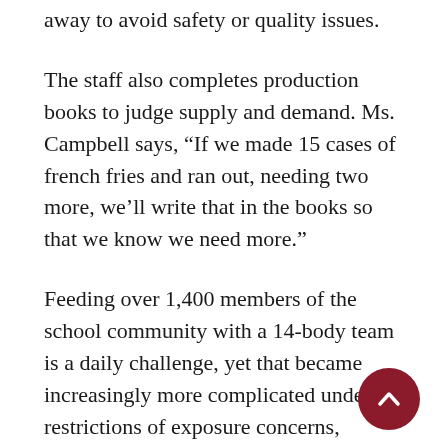away to avoid safety or quality issues.
The staff also completes production books to judge supply and demand. Ms. Campbell says, “If we made 15 cases of french fries and ran out, needing two more, we’ll write that in the books so that we know we need more.”
Feeding over 1,400 members of the school community with a 14-body team is a daily challenge, yet that became increasingly more complicated under the restrictions of exposure concerns, quarantine protocols, and supply chain issues. We asked Ms. Campbell to describe how the staff adjusted to such circumstances. First, all meals were